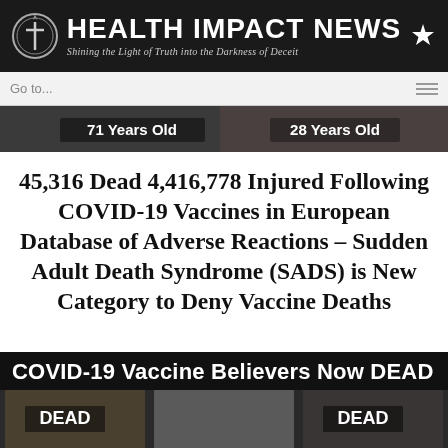HEALTH IMPACT NEWS — Shining the Light of Truth into the Darkness of Deceit
Go to...
[Figure (photo): Image strip showing two people with captions '71 Years Old' and '28 Years Old' on a dark background]
45,316 Dead 4,416,778 Injured Following COVID-19 Vaccines in European Database of Adverse Reactions – Sudden Adult Death Syndrome (SADS) is New Category to Deny Vaccine Deaths
[Figure (photo): Dark banner reading 'COVID-19 Vaccine Believers Now DEAD' with thumbnail images labeled DEAD]